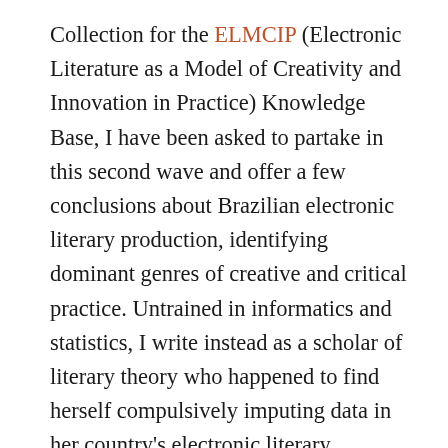Collection for the ELMCIP (Electronic Literature as a Model of Creativity and Innovation in Practice) Knowledge Base, I have been asked to partake in this second wave and offer a few conclusions about Brazilian electronic literary production, identifying dominant genres of creative and critical practice. Untrained in informatics and statistics, I write instead as a scholar of literary theory who happened to find herself compulsively imputing data in her country's electronic literary production and in the process taking a peek into the inner workings of a collaborative database in the Digital Humanities. Though the examples to follow are derived specifically from the Brazilian Collection, my conviction is that